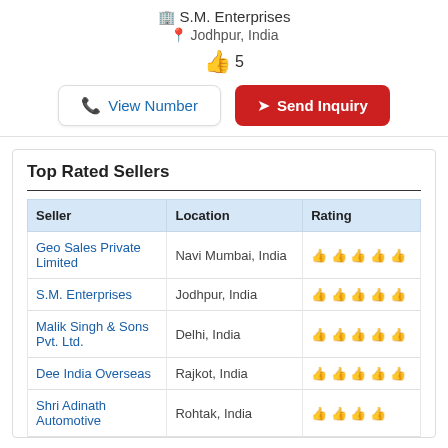S.M. Enterprises
Jodhpur, India
👍 5
View Number
Send Inquiry
Top Rated Sellers
| Seller | Location | Rating |
| --- | --- | --- |
| Geo Sales Private Limited | Navi Mumbai, India | 👍👍👍👍👍 |
| S.M. Enterprises | Jodhpur, India | 👍👍👍👍👍 |
| Malik Singh & Sons Pvt. Ltd. | Delhi, India | 👍👍👍👍👍 |
| Dee India Overseas | Rajkot, India | 👍👍👍👍👍 |
| Shri Adinath Automotive | Rohtak, India | 👍👍👍👍 |